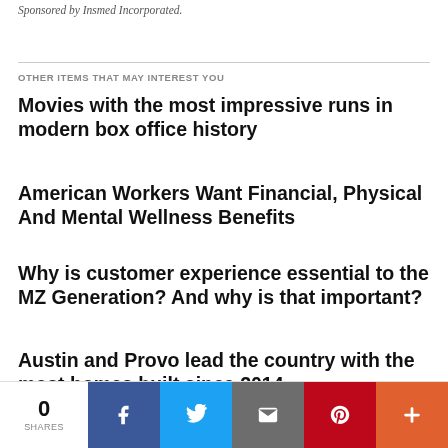Sponsored by Insmed Incorporated.
OTHER ITEMS THAT MAY INTEREST YOU
Movies with the most impressive runs in modern box office history
American Workers Want Financial, Physical And Mental Wellness Benefits
Why is customer experience essential to the MZ Generation? And why is that important?
Austin and Provo lead the country with the most homes built since 2014
0 SHARES | Facebook | Twitter | Email | Pinterest | More